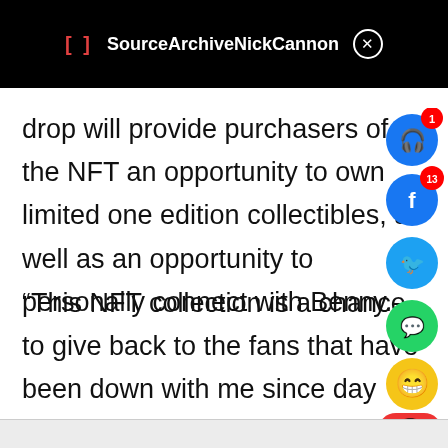[ ]  SourceArchiveNickCannon  ✕
drop will provide purchasers of the NFT an opportunity to own limited one edition collectibles, as well as an opportunity to personally connect with Benny.
“This NFT collection is a chance to give back to the fans that have been down with me since day one,” said Benny the Butcher. “I wa…